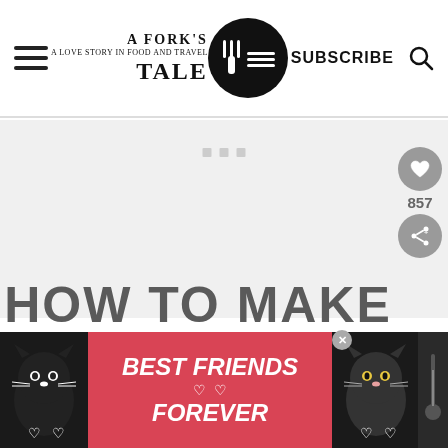A Fork's Tale — navigation header with hamburger menu, logo, SUBSCRIBE, and search icon
[Figure (screenshot): Loading/placeholder area with three small gray dots indicating content loading]
[Figure (infographic): Heart/favorite button (gray circle) with count 857, and share button below]
HOW TO MAKE
[Figure (photo): Advertisement banner with two cat photos and text BEST FRIENDS FOREVER on pink/red background]